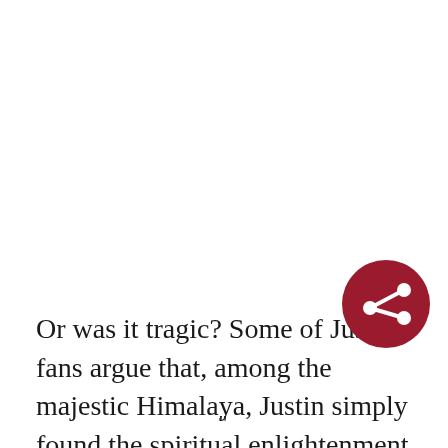Or was it tragic? Some of Justin's fans argue that, among the majestic Himalaya, Justin simply found the spiritual enlightenment he had been seeking. His final blog post concluded with the omi… line: 'If I'm not back by [intended return d…
[Figure (other): Dark red circular share button with white share icon (three connected circles)]